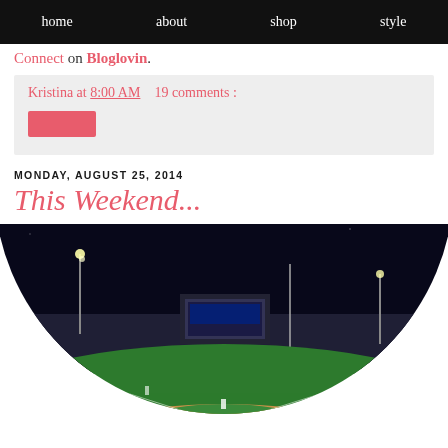home  about  shop  style
Connect on Bloglovin.
Kristina at 8:00 AM   19 comments :
MONDAY, AUGUST 25, 2014
This Weekend...
[Figure (photo): Night baseball game at a stadium (Wrigley Field-style), viewed from behind home plate, circular/arch-cropped photo showing the field, outfield wall with Audi advertisement, stadium lights, and crowd.]